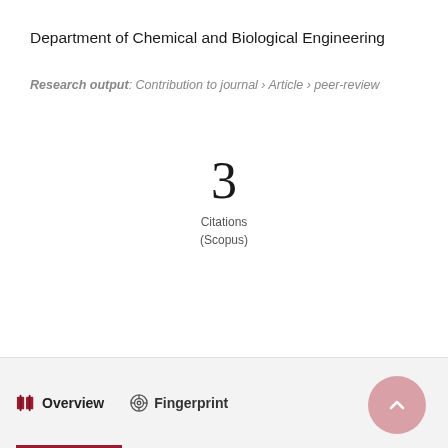Department of Chemical and Biological Engineering
Research output: Contribution to journal › Article › peer-review
3
Citations
(Scopus)
Overview   Fingerprint